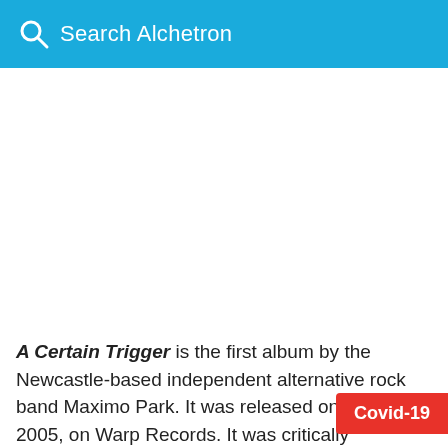Search Alchetron
A Certain Trigger is the first album by the Newcastle-based independent alternative rock band Maximo Park. It was released on 16 May 2005, on Warp Records. It was critically acclaimed and nominated for the 2005 Mercury Prize. August of that year.